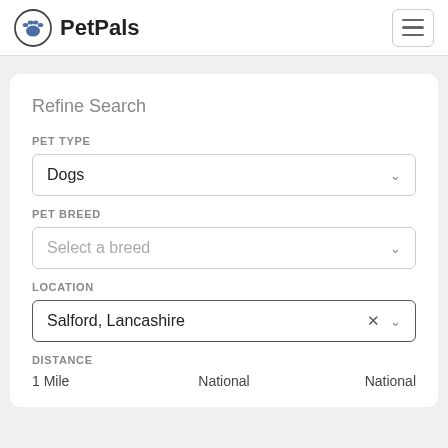PetPals
Refine Search
PET TYPE
Dogs
PET BREED
Select a breed
LOCATION
Salford, Lancashire
DISTANCE
1 Mile    National    National